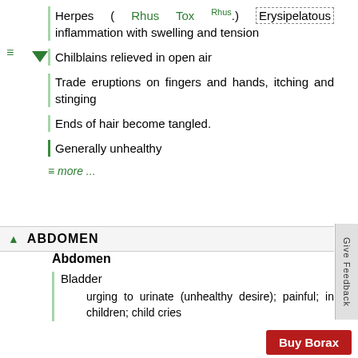Herpes ( Rhus Tox Rhus.) Erysipelatous inflammation with swelling and tension
Chilblains relieved in open air
Trade eruptions on fingers and hands, itching and stinging
Ends of hair become tangled.
Generally unhealthy
≡ more ...
▲ ABDOMEN
Abdomen
Bladder
urging to urinate (unhealthy desire); painful; in children; child cries